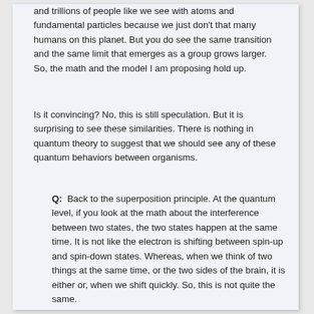and trillions of people like we see with atoms and fundamental particles because we just don't that many humans on this planet. But you do see the same transition and the same limit that emerges as a group grows larger. So, the math and the model I am proposing hold up.
Is it convincing? No, this is still speculation. But it is surprising to see these similarities. There is nothing in quantum theory to suggest that we should see any of these quantum behaviors between organisms.
Q: Back to the superposition principle. At the quantum level, if you look at the math about the interference between two states, the two states happen at the same time. It is not like the electron is shifting between spin-up and spin-down states. Whereas, when we think of two things at the same time, or the two sides of the brain, it is either or, when we shift quickly. So, this is not quite the same.